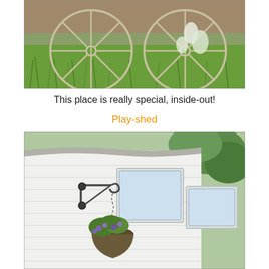[Figure (photo): Two large metal wagon wheels leaning against a brick wall in a grassy garden area. White flowering plants visible through the right wheel.]
This place is really special, inside-out!
Play-shed
[Figure (photo): Exterior of a white wooden shed/building with clapboard siding, panel windows, and a decorative wrought-iron hanging basket bracket with a flower-filled hanging basket in the foreground. Green foliage visible in the background.]